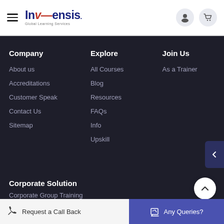[Figure (logo): Invensis Global Learning Services logo with hamburger menu icon, user icon, and cart icon in white header bar]
Company
About us
Accreditations
Customer Speak
Contact Us
Sitemap
Explore
All Courses
Blog
Resources
FAQs
Info
Upskill
Join Us
As a Trainer
Corporate Solution
Corporate Group Training
Request a Call Back
Any Queries?